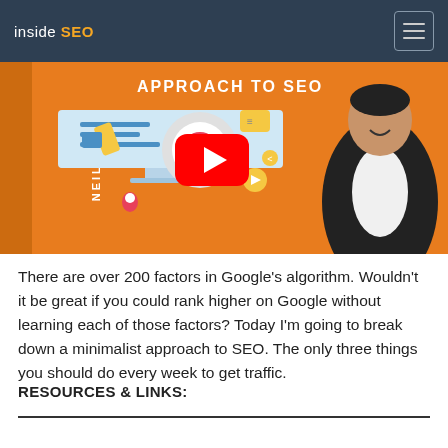inside SEO
[Figure (screenshot): YouTube video thumbnail showing 'APPROACH TO SEO' text in white on orange background, with a monitor/computer graphic and icons on the left, and a man in a black leather jacket on the right. A YouTube play button is centered on the image. NEILPATEL text runs vertically on the left side.]
There are over 200 factors in Google's algorithm. Wouldn't it be great if you could rank higher on Google without learning each of those factors? Today I'm going to break down a minimalist approach to SEO. The only three things you should do every week to get traffic.
RESOURCES & LINKS: